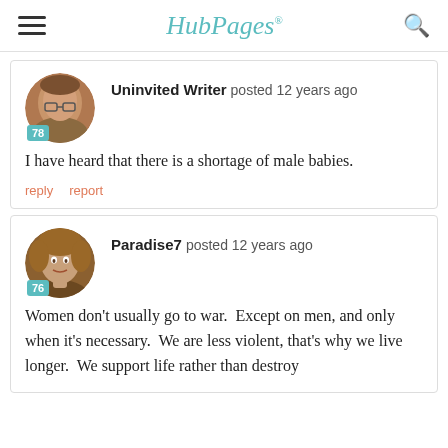HubPages
Uninvited Writer posted 12 years ago
I have heard that there is a shortage of male babies.
reply   report
Paradise7 posted 12 years ago
Women don't usually go to war.  Except on men, and only when it's necessary.  We are less violent, that's why we live longer.  We support life rather than destroy